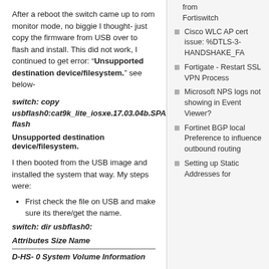After a reboot the switch came up to rom monitor mode, no biggie I thought- just copy the firmware from USB over to flash and install. This did not work, I continued to get error: “Unsupported destination device/filesystem.” see below-
switch: copy usbflash0:cat9k_lite_iosxe.17.03.04b.SPA.bin flash
Unsupported destination device/filesystem.
I then booted from the USB image and installed the system that way. My steps were:
Frist check the file on USB and make sure its there/get the name.
switch: dir usbflash0:
Attributes Size Name
D-HS- 0 System Volume Information
from Fortiswitch
Cisco WLC AP cert issue: %DTLS-3-HANDSHAKE_FA
Fortigate - Restart SSL VPN Process
Microsoft NPS logs not showing in Event Viewer?
Fortinet BGP local Preference to influence outbound routing
Setting up Static Addresses for